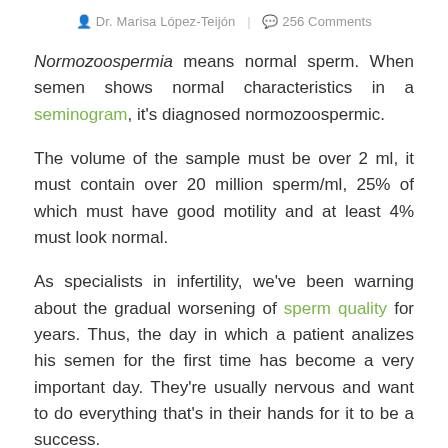Dr. Marisa López-Teijón  |  256 Comments
Normozoospermia means normal sperm. When semen shows normal characteristics in a seminogram, it's diagnosed normozoospermic.
The volume of the sample must be over 2 ml, it must contain over 20 million sperm/ml, 25% of which must have good motility and at least 4% must look normal.
As specialists in infertility, we've been warning about the gradual worsening of sperm quality for years. Thus, the day in which a patient analizes his semen for the first time has become a very important day. They're usually nervous and want to do everything that's in their hands for it to be a success.
They receive the following instructions: semen must be obtained through masturbation. They are also requested to...